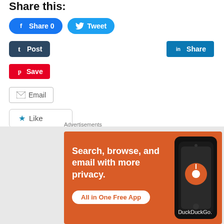Share this:
[Figure (screenshot): Facebook Share 0 button (blue rounded), Twitter Tweet button (light blue rounded)]
[Figure (screenshot): Tumblr Post button (dark navy), LinkedIn Share button (teal, right side)]
[Figure (screenshot): Pinterest Save button (red)]
[Figure (screenshot): Email button (white with border)]
[Figure (screenshot): Like button with star icon]
Be the first to like this.
Related
[Figure (photo): Related article thumbnail image with people against teal/orange background]
Advertisements
[Figure (screenshot): DuckDuckGo advertisement banner: Search, browse, and email with more privacy. All in One Free App. Orange background with phone graphic.]